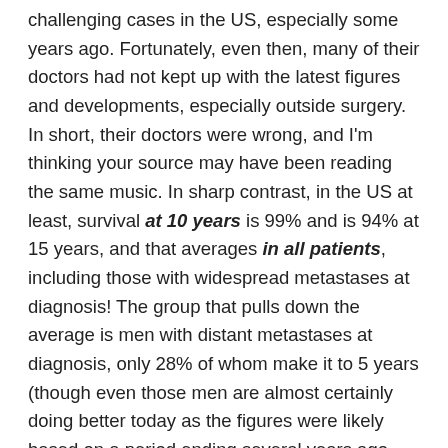challenging cases in the US, especially some years ago. Fortunately, even then, many of their doctors had not kept up with the latest figures and developments, especially outside surgery. In short, their doctors were wrong, and I'm thinking your source may have been reading the same music. In sharp contrast, in the US at least, survival at 10 years is 99% and is 94% at 15 years, and that averages in all patients, including those with widespread metastases at diagnosis! The group that pulls down the average is men with distant metastases at diagnosis, only 28% of whom make it to 5 years (though even those men are almost certainly doing better today as the figures were likely based on a period ending several years ago,